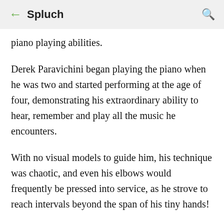← Spluch 🔍
piano playing abilities.
Derek Paravichini began playing the piano when he was two and started performing at the age of four, demonstrating his extraordinary ability to hear, remember and play all the music he encounters.
With no visual models to guide him, his technique was chaotic, and even his elbows would frequently be pressed into service, as he strove to reach intervals beyond the span of his tiny hands!